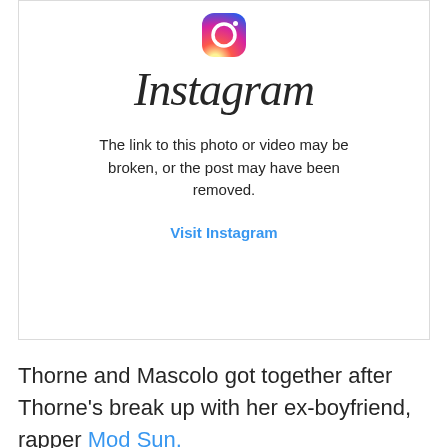[Figure (screenshot): Instagram embedded post error screen showing the Instagram logo, wordmark in script font, an error message 'The link to this photo or video may be broken, or the post may have been removed.' and a 'Visit Instagram' link in blue.]
Thorne and Mascolo got together after Thorne's break up with her ex-boyfriend, rapper Mod Sun.